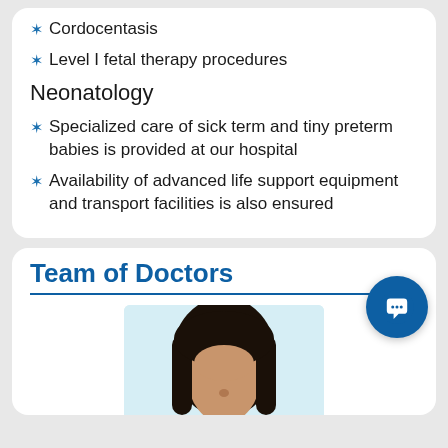Cordocentasis
Level I fetal therapy procedures
Neonatology
Specialized care of sick term and tiny preterm babies is provided at our hospital
Availability of advanced life support equipment and transport facilities is also ensured
Team of Doctors
[Figure (photo): Photo of a female doctor with dark hair, partial face visible, light blue background]